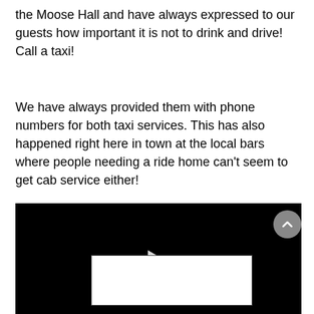the Moose Hall and have always expressed to our guests how important it is not to drink and drive! Call a taxi!
We have always provided them with phone numbers for both taxi services. This has also happened right here in town at the local bars where people needing a ride home can't seem to get cab service either!
[Figure (other): A black video player with a white play button triangle in the center.]
[Figure (other): A circular scroll-to-top button with a white chevron/arrow pointing upward, gray background.]
[Figure (other): An empty white comment/text input box with a thin border.]